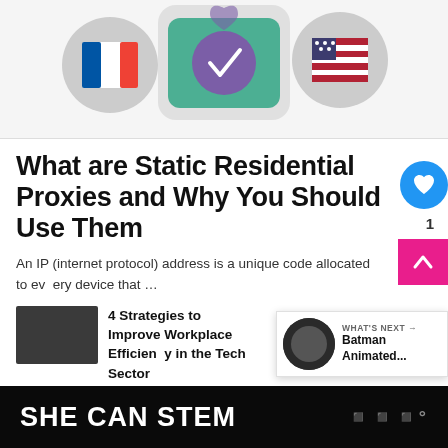[Figure (illustration): VPN/proxy illustration with French flag, checkmark shield, US flag icons on grey circles, and a large VPN device graphic]
What are Static Residential Proxies and Why You Should Use Them
An IP (internet protocol) address is a unique code allocated to every device that …
4 Strategies to Improve Workplace Efficiency in the Tech Sector
WHAT'S NEXT → Batman Animated...
Looking Ahead to the Call of Duty League's Major 4: Who are the Favourite P...
SHE CAN STEM